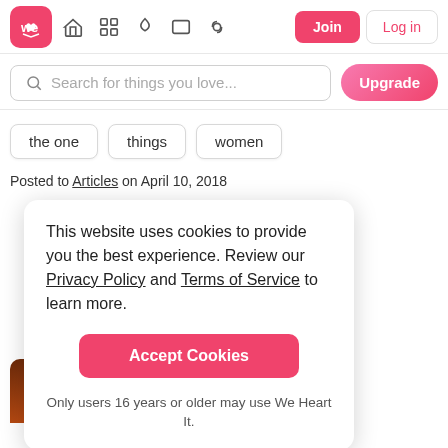[Figure (screenshot): We Heart It website navigation bar with logo, icons, Join and Log in buttons]
[Figure (screenshot): Search bar with placeholder text 'Search for things you love...' and Upgrade button]
the one
things
women
Posted to Articles on April 10, 2018
This website uses cookies to provide you the best experience. Review our Privacy Policy and Terms of Service to learn more.
Accept Cookies
Only users 16 years or older may use We Heart It.
September Goals